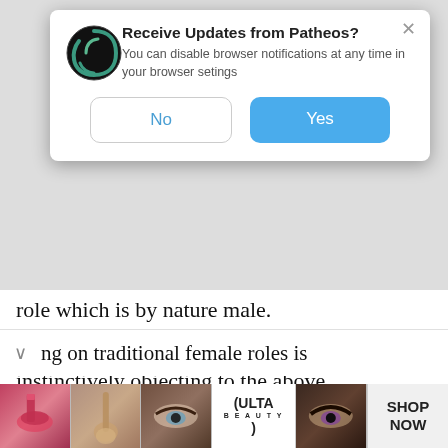[Figure (screenshot): Browser notification popup from Patheos website asking 'Receive Updates from Patheos?' with No and Yes buttons]
role which is by nature male.
I suspect most readers are finding themselves instinctively objecting to the above characterization of the “nature” of men and women. And this is the crucial point. If we do not accept what Paul considered “natural” and thus do not accept that men
ng on traditional female roles is
[Figure (photo): Ulta Beauty advertisement banner showing makeup product photos and SHOP NOW call to action]